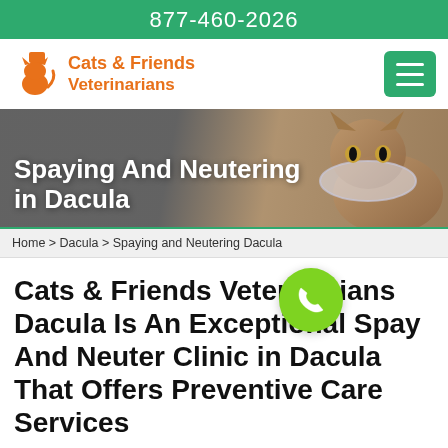877-460-2026
[Figure (logo): Cats & Friends Veterinarians logo with orange cat icon and orange brand text]
[Figure (photo): Banner photo of a tabby cat wearing an Elizabethan collar with overlay text 'Spaying And Neutering in Dacula']
Spaying And Neutering in Dacula
Home > Dacula > Spaying and Neutering Dacula
Cats & Friends Veterinarians Dacula Is An Exceptional Spay And Neuter Clinic in Dacula That Offers Preventive Care Services